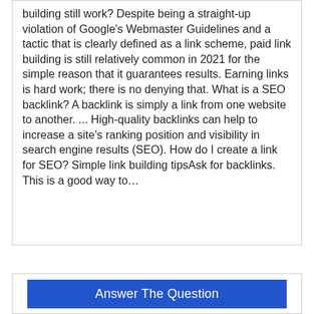building still work? Despite being a straight-up violation of Google's Webmaster Guidelines and a tactic that is clearly defined as a link scheme, paid link building is still relatively common in 2021 for the simple reason that it guarantees results. Earning links is hard work; there is no denying that. What is a SEO backlink? A backlink is simply a link from one website to another. ... High-quality backlinks can help to increase a site's ranking position and visibility in search engine results (SEO). How do I create a link for SEO? Simple link building tipsAsk for backlinks. This is a good way to…
Answer The Question